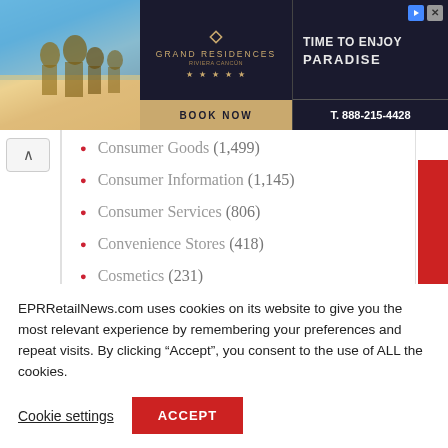[Figure (other): Grand Residences hotel advertisement banner. Shows a beach family photo on the left, Grand Residences Riviera Cancun logo and 5-star rating in the center with gold 'BOOK NOW' bar, and 'TIME TO ENJOY PARADISE' text with phone number T. 888-215-4428 on dark background on the right.]
Consumer Goods (1,499)
Consumer Information (1,145)
Consumer Services (806)
Convenience Stores (418)
Cosmetics (231)
Coupons (222)
EPRRetailNews.com uses cookies on its website to give you the most relevant experience by remembering your preferences and repeat visits. By clicking “Accept”, you consent to the use of ALL the cookies.
Cookie settings
ACCEPT